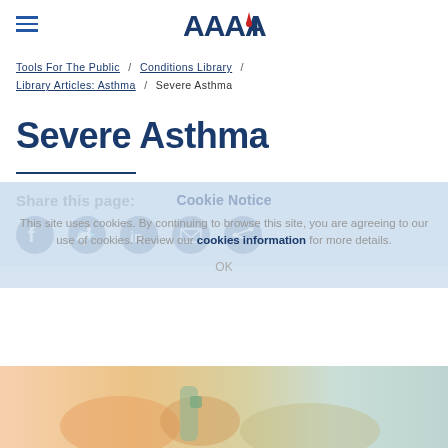AAAAI logo with hamburger menu
Tools For The Public / Conditions Library / Library Articles: Asthma / Severe Asthma
Severe Asthma
Share this page:
Cookie Notice - This site uses cookies. By continuing to browse this site, you are agreeing to our use of cookies. Review our cookies information for more details.
[Figure (photo): Blurred photo of hands holding an inhaler]
OK